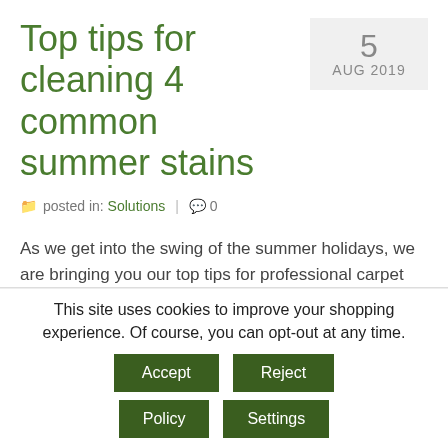Top tips for cleaning 4 common summer stains
5 AUG 2019
posted in: Solutions | 0
As we get into the swing of the summer holidays, we are bringing you our top tips for professional carpet and upholstery cleaners. Enjoy this blog of four common summer stains that your customers may encounter over the school holidays.
This site uses cookies to improve your shopping experience. Of course, you can opt-out at any time.